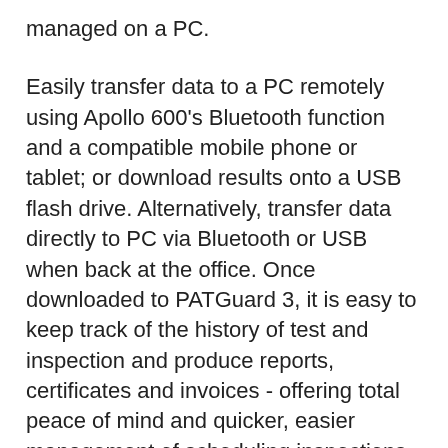managed on a PC.
Easily transfer data to a PC remotely using Apollo 600's Bluetooth function and a compatible mobile phone or tablet; or download results onto a USB flash drive. Alternatively, transfer data directly to PC via Bluetooth or USB when back at the office. Once downloaded to PATGuard 3, it is easy to keep track of the history of test and inspection and produce reports, certificates and invoices - offering total peace of mind and quicker, easier management of scheduling inspections and tests.